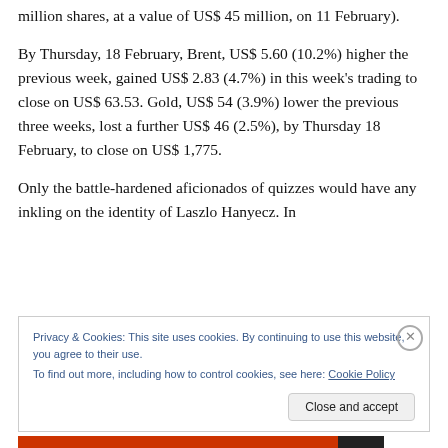million shares, at a value of US$ 45 million, on 11 February).
By Thursday, 18 February, Brent, US$ 5.60 (10.2%) higher the previous week, gained US$ 2.83 (4.7%) in this week's trading to close on US$ 63.53. Gold, US$ 54 (3.9%) lower the previous three weeks, lost a further US$ 46 (2.5%), by Thursday 18 February, to close on US$ 1,775.
Only the battle-hardened aficionados of quizzes would have any inkling on the identity of Laszlo Hanyecz. In
Privacy & Cookies: This site uses cookies. By continuing to use this website, you agree to their use.
To find out more, including how to control cookies, see here: Cookie Policy